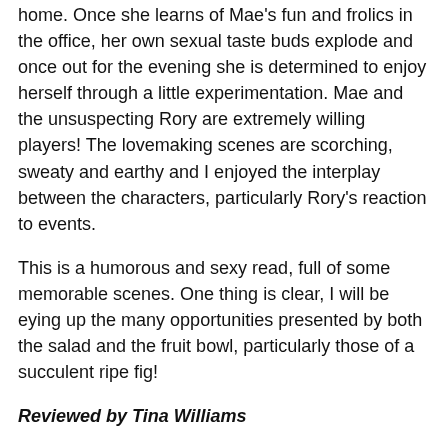home. Once she learns of Mae's fun and frolics in the office, her own sexual taste buds explode and once out for the evening she is determined to enjoy herself through a little experimentation. Mae and the unsuspecting Rory are extremely willing players! The lovemaking scenes are scorching, sweaty and earthy and I enjoyed the interplay between the characters, particularly Rory's reaction to events.
This is a humorous and sexy read, full of some memorable scenes. One thing is clear, I will be eying up the many opportunities presented by both the salad and the fruit bowl, particularly those of a succulent ripe fig!
Reviewed by Tina Williams
Please note a copy of this book was given to me by the author for the purpose of a fair and honest review.